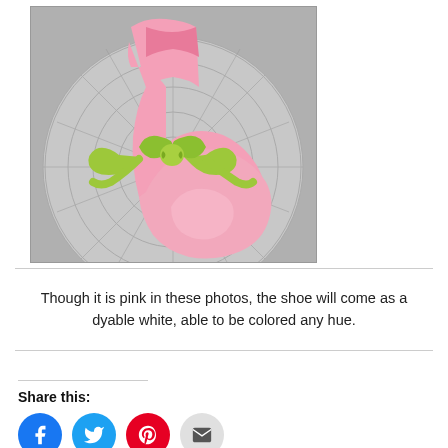[Figure (photo): A pink leather flat shoe with a green satin bow tied around the toe area, sitting on a glass plate with radial ridges. The shoe is photographed from above-front angle.]
Though it is pink in these photos, the shoe will come as a dyable white, able to be colored any hue.
Share this: